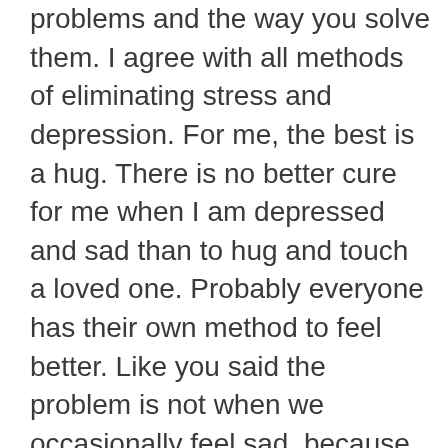problems and the way you solve them. I agree with all methods of eliminating stress and depression. For me, the best is a hug. There is no better cure for me when I am depressed and sad than to hug and touch a loved one. Probably everyone has their own method to feel better. Like you said the problem is not when we occasionally feel sad, because it's normal. The problem is when for a long time we can't get out of the sadness that grows into chronic depression. It's all in the head and there's no person who can't train the brain to think optimistically.